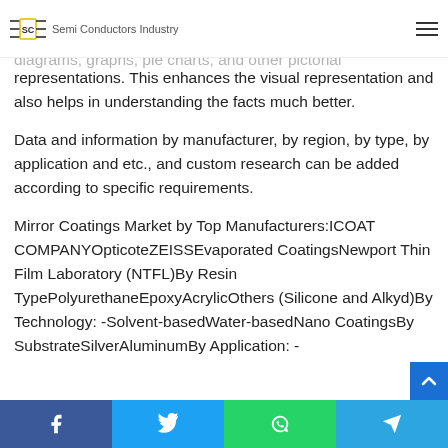Semi Conductors Industry
others and were checked and validated by the industry experts. The statistical data are represented in the report as diagrams, graphs, pie charts, and other pictorial representations. This enhances the visual representation and also helps in understanding the facts much better.
Data and information by manufacturer, by region, by type, by application and etc., and custom research can be added according to specific requirements.
Mirror Coatings Market by Top Manufacturers:ICOAT COMPANYOpticoteZEISSEvaporated CoatingsNewport Thin Film Laboratory (NTFL)By Resin TypePolyurethaneEpoxyAcrylicOthers (Silicone and Alkyd)By Technology: -Solvent-basedWater-basedNano CoatingsBy SubstrateSilverAluminumBy Application: -